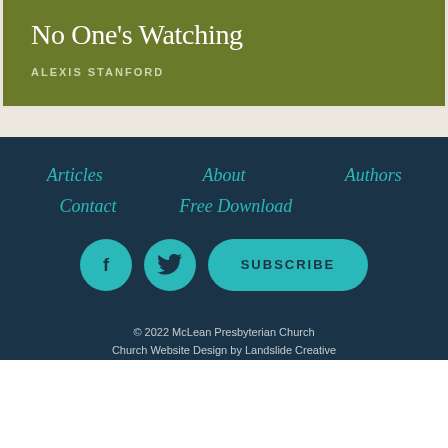No One's Watching
ALEXIS STANFORD
Articles
About
Authors
Contact
Free Download
[Figure (other): Facebook icon circle button (teal)]
[Figure (other): Twitter icon circle button (teal)]
[Figure (other): Subscribe button (teal pill shape)]
© 2022 McLean Presbyterian Church
Church Website Design by Landslide Creative